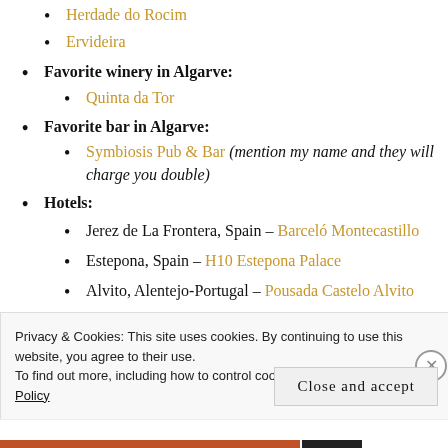Herdade do Rocim
Ervideira
Favorite winery in Algarve:
Quinta da Tor
Favorite bar in Algarve:
Symbiosis Pub & Bar (mention my name and they will charge you double)
Hotels:
Jerez de La Frontera, Spain – Barceló Montecastillo
Estepona, Spain – H10 Estepona Palace
Alvito, Alentejo-Portugal – Pousada Castelo Alvito
Privacy & Cookies: This site uses cookies. By continuing to use this website, you agree to their use.
To find out more, including how to control cookies, see here: Cookie Policy
Close and accept